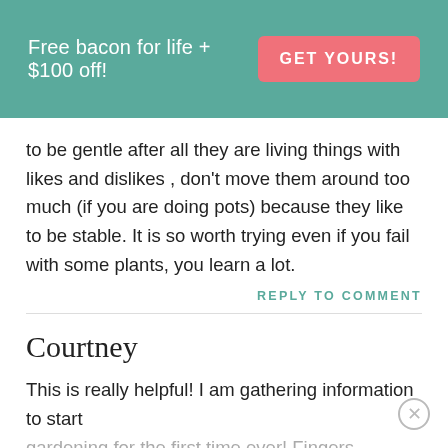[Figure (infographic): Teal/green banner with promotional text 'Free bacon for life + $100 off!' and a pink 'GET YOURS!' button]
to be gentle after all they are living things with likes and dislikes , don't move them around too much (if you are doing pots) because they like to be stable. It is so worth trying even if you fail with some plants, you learn a lot.
REPLY TO COMMENT
Courtney
This is really helpful! I am gathering information to start gardening for the first time ever! Fingers crossed that it goes well!